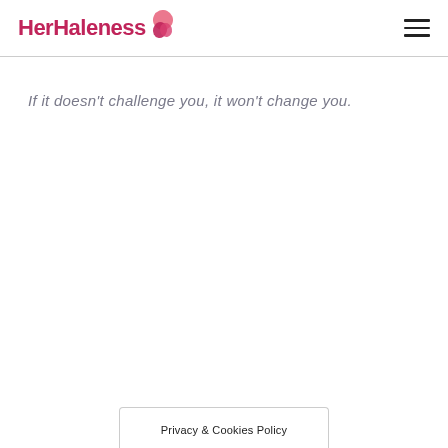HerHaleness
If it doesn’t challenge you, it won’t change you.
Privacy & Cookies Policy